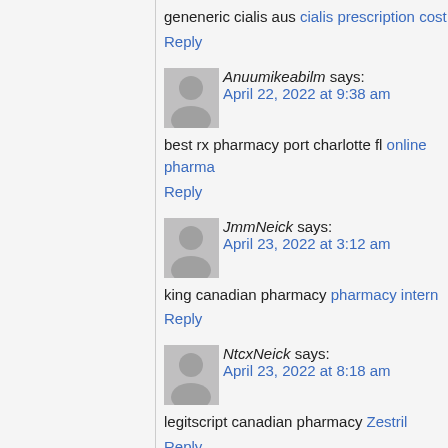geneneric cialis aus cialis prescription cost
Reply
Anuumikeabilm says:
April 22, 2022 at 9:38 am
best rx pharmacy port charlotte fl online pharma
Reply
JmmNeick says:
April 23, 2022 at 3:12 am
king canadian pharmacy pharmacy intern
Reply
NtcxNeick says:
April 23, 2022 at 8:18 am
legitscript canadian pharmacy Zestril
Reply